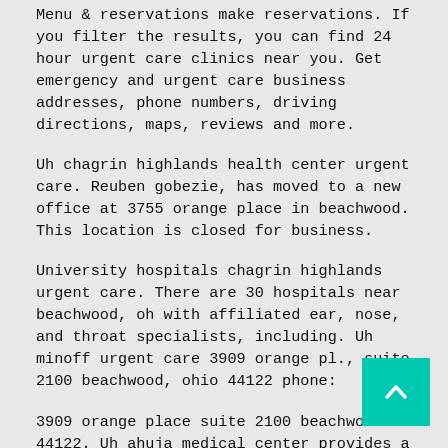Menu & reservations make reservations. If you filter the results, you can find 24 hour urgent care clinics near you. Get emergency and urgent care business addresses, phone numbers, driving directions, maps, reviews and more.
Uh chagrin highlands health center urgent care. Reuben gobezie, has moved to a new office at 3755 orange place in beachwood. This location is closed for business.
University hospitals chagrin highlands urgent care. There are 30 hospitals near beachwood, oh with affiliated ear, nose, and throat specialists, including. Uh minoff urgent care 3909 orange pl., suite 2100 beachwood, ohio 44122 phone:
3909 orange place suite 2100 beachwood oh 44122. Uh ahuja medical center provides a full range of inpatient and outpatient services with an emphasis on wellness and preventive medicine. Medical centers emergency care facilities hospitals.
3909 orange place suite 2100. University hospitals, mi urgent care is an urgent care center in beachwood. located at